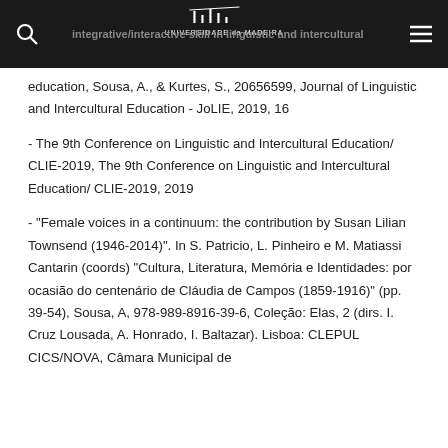- Revisiting the role of listening as an integrative/interactive skill in linguistic and intercultural education, Sousa, A., & Kurtes, S., 20656599, Journal of Linguistic and Intercultural Education - JoLIE, 2019, 16
- The 9th Conference on Linguistic and Intercultural Education/ CLIE-2019, The 9th Conference on Linguistic and Intercultural Education/ CLIE-2019, 2019
- "Female voices in a continuum: the contribution by Susan Lilian Townsend (1946-2014)". In S. Patricio, L. Pinheiro e M. Matiassi Cantarin (coords) "Cultura, Literatura, Memória e Identidades: por ocasião do centenário de Cláudia de Campos (1859-1916)" (pp. 39-54), Sousa, A, 978-989-8916-39-6, Coleção: Elas, 2 (dirs. I. Cruz Lousada, A. Honrado, I. Baltazar). Lisboa: CLEPUL CICS/NOVA, Câmara Municipal de